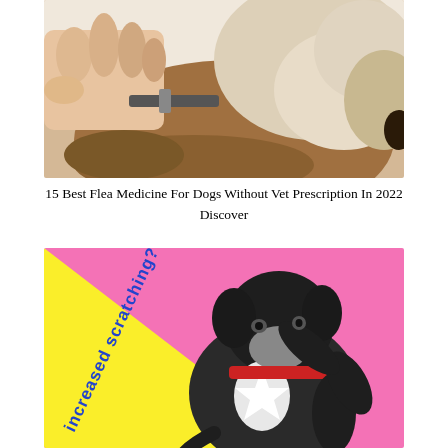[Figure (photo): Close-up photo of a person's hands applying a flea treatment or checking the collar of a fluffy beige/brown dog, against a light background.]
15 Best Flea Medicine For Dogs Without Vet Prescription In 2022 Discover
[Figure (photo): A black and white dog with a red collar, scratching itself, against a bright pink and yellow background. Blue diagonal text reads 'increased scratching?']